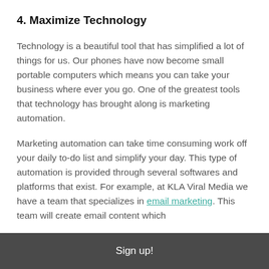4. Maximize Technology
Technology is a beautiful tool that has simplified a lot of things for us. Our phones have now become small portable computers which means you can take your business where ever you go. One of the greatest tools that technology has brought along is marketing automation.
Marketing automation can take time consuming work off your daily to-do list and simplify your day. This type of automation is provided through several softwares and platforms that exist. For example, at KLA Viral Media we have a team that specializes in email marketing. This team will create email content which
Sign up!